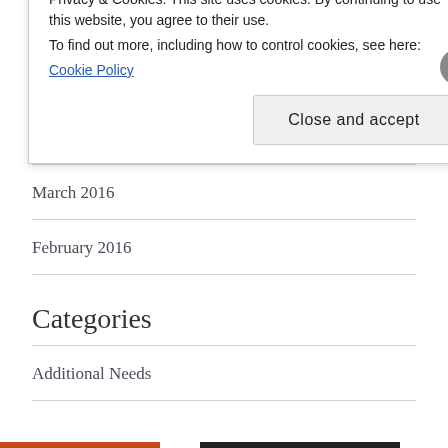June 2016
May 2016
April 2016
March 2016
February 2016
Categories
Additional Needs
Advent
Privacy & Cookies: This site uses cookies. By continuing to use this website, you agree to their use.
To find out more, including how to control cookies, see here:
Cookie Policy